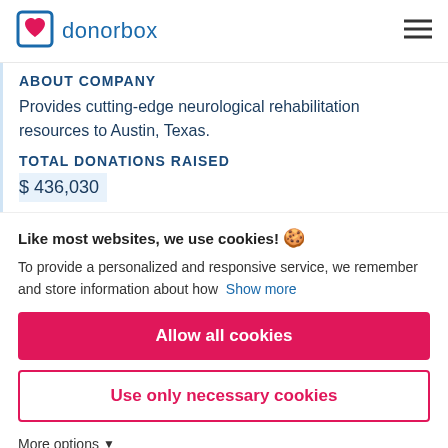donorbox
ABOUT COMPANY
Provides cutting-edge neurological rehabilitation resources to Austin, Texas.
TOTAL DONATIONS RAISED
$ 436,030
Like most websites, we use cookies!
To provide a personalized and responsive service, we remember and store information about how Show more
Allow all cookies
Use only necessary cookies
More options